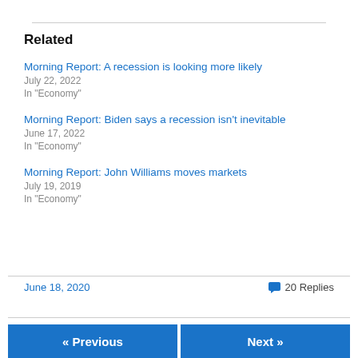Related
Morning Report: A recession is looking more likely
July 22, 2022
In "Economy"
Morning Report: Biden says a recession isn't inevitable
June 17, 2022
In "Economy"
Morning Report: John Williams moves markets
July 19, 2019
In "Economy"
June 18, 2020
20 Replies
« Previous    Next »